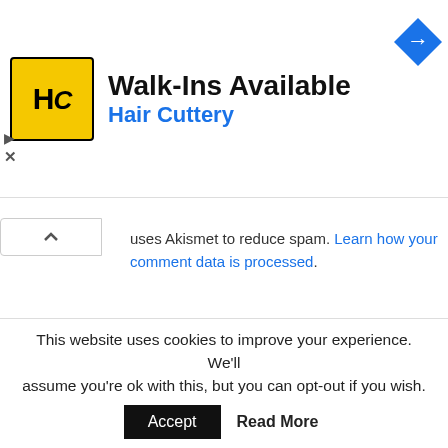[Figure (logo): Hair Cuttery advertisement banner with yellow HC logo, 'Walk-Ins Available' title, 'Hair Cuttery' subtitle in blue, and a blue navigation arrow icon]
uses Akismet to reduce spam. Learn how your comment data is processed.
License Error: App Key has reached the call limit. Please contact info@stockdio.com for details. (2B75FC)
[Figure (logo): Stockdio logo with green diamond/arrow icon and 'stockdio' text in dark gray]
This website uses cookies to improve your experience. We'll assume you're ok with this, but you can opt-out if you wish.